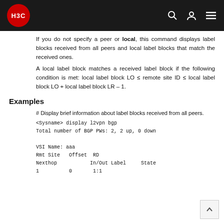H3C
If you do not specify a peer or local, this command displays label blocks received from all peers and local label blocks that match the received ones.
A local label block matches a received label block if the following condition is met: local label block LO ≤ remote site ID ≤ local label block LO + local label block LR – 1.
Examples
# Display brief information about label blocks received from all peers.
<Sysname> display l2vpn bgp
Total number of BGP PWs: 2, 2 up, 0 down

VSI Name: aaa
Rmt Site   Offset  RD
Nexthop           In/Out Label     State
1          0       1:1